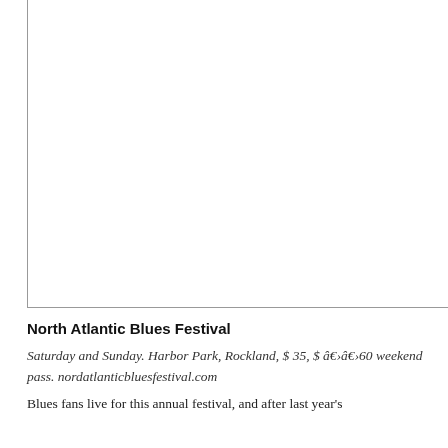[Figure (photo): Large photograph taking up the top portion of the page, with a left and bottom border visible, content not visible in this crop.]
North Atlantic Blues Festival
Saturday and Sunday. Harbor Park, Rockland, $ 35, $ â€‹â€‹60 weekend pass. nordatlanticbluesfestival.com
Blues fans live for this annual festival, and after last year's